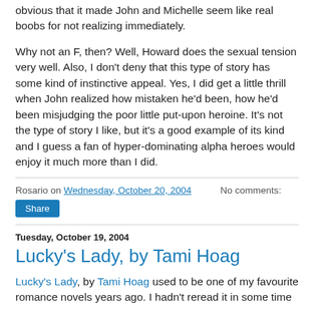obvious that it made John and Michelle seem like real boobs for not realizing immediately.
Why not an F, then? Well, Howard does the sexual tension very well. Also, I don't deny that this type of story has some kind of instinctive appeal. Yes, I did get a little thrill when John realized how mistaken he'd been, how he'd been misjudging the poor little put-upon heroine. It's not the type of story I like, but it's a good example of its kind and I guess a fan of hyper-dominating alpha heroes would enjoy it much more than I did.
Rosario on Wednesday, October 20, 2004   No comments:
Share
Tuesday, October 19, 2004
Lucky's Lady, by Tami Hoag
Lucky's Lady, by Tami Hoag used to be one of my favourite romance novels years ago. I hadn't reread it in some time...